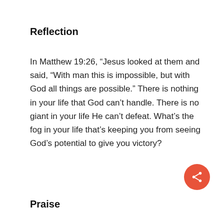Reflection
In Matthew 19:26, “Jesus looked at them and said, “With man this is impossible, but with God all things are possible.” There is nothing in your life that God can’t handle. There is no giant in your life He can’t defeat. What’s the fog in your life that’s keeping you from seeing God’s potential to give you victory?
Praise